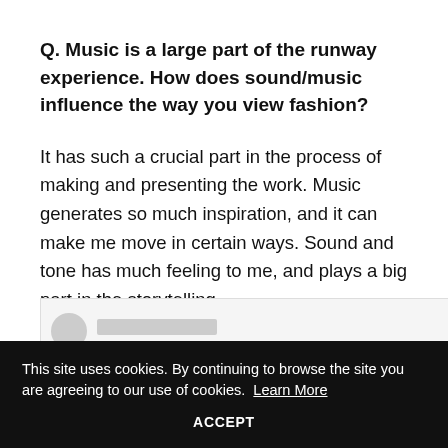Q. Music is a large part of the runway experience. How does sound/music influence the way you view fashion?
It has such a crucial part in the process of making and presenting the work. Music generates so much inspiration, and it can make me move in certain ways. Sound and tone has much feeling to me, and plays a big part in the storytelling.
[Figure (other): Partial view of a page element with a circular avatar and a rectangular bar placeholder, partially visible at the bottom of the page.]
This site uses cookies. By continuing to browse the site you are agreeing to our use of cookies.  Learn More
ACCEPT